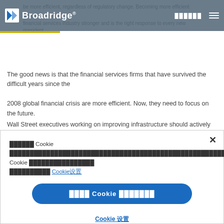Broadridge — header navigation bar
...be more efficient, regardless of regulatory change. Becoming more efficient makes the entire financial services industry stronger and is the right response to every new president.
The good news is that the financial services firms that have survived the difficult years since the 2008 global financial crisis are more efficient. Now, they need to focus on the future.
Wall Street executives working on improving infrastructure should actively embrace new technologies such as blockchain to avoid being disrupted by financial technology startups.
Cookie ████████████████████████████████████████████████████████████ Cookie ██████████████████████████ Cookie设置
████ Cookie ███████
Cookie 设置